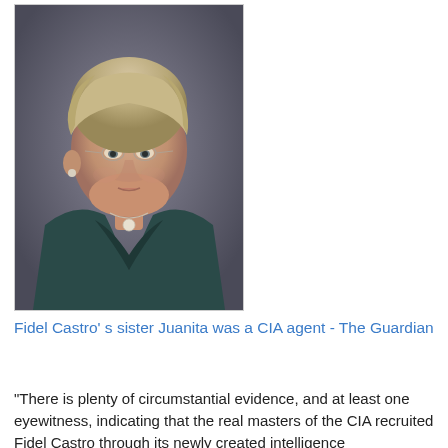[Figure (photo): Portrait photograph of an older woman with short blonde/grey hair, glasses, wearing a dark teal blazer and a white pendant necklace, against a grey background.]
Fidel Castro' s sister Juanita was a CIA agent - The Guardian
"There is plenty of circumstantial evidence, and at least one eyewitness, indicating that the real masters of the CIA recruited Fidel Castro through its newly created intelligence